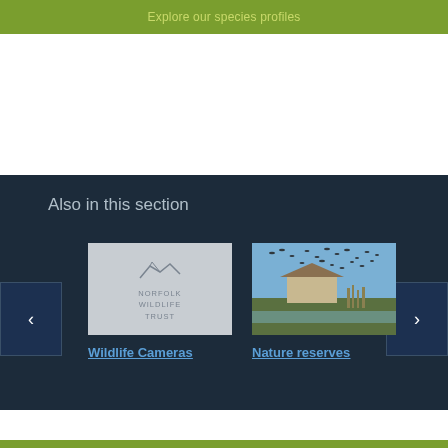Explore our species profiles
Also in this section
[Figure (logo): Norfolk Wildlife Trust logo placeholder (grey background with NWT bird logo and text 'Norfolk Wildlife Trust')]
Wildlife Cameras
[Figure (photo): Photo of birds in flight over a thatched building near water with reeds, nature reserve scene]
Nature reserves